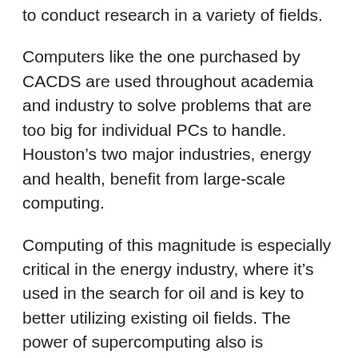to conduct research in a variety of fields.
Computers like the one purchased by CACDS are used throughout academia and industry to solve problems that are too big for individual PCs to handle. Houston’s two major industries, energy and health, benefit from large-scale computing.
Computing of this magnitude is especially critical in the energy industry, where it’s used in the search for oil and is key to better utilizing existing oil fields. The power of supercomputing also is increasingly employed in health and medical research, where it is advancing health care. With the ability to cull through gigabytes and terabytes of patient information, supercomputers assist in determining how to best treat specific illnesses, as well as diagnose them more quickly, decrease costs and improve quality.